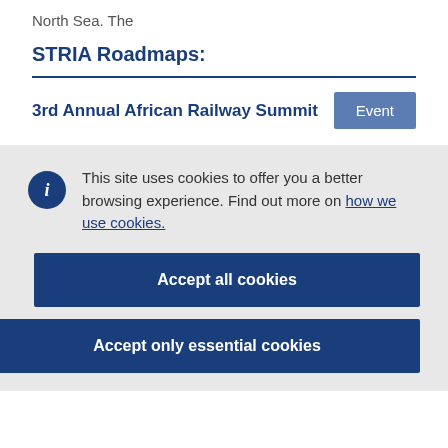North Sea. The
STRIA Roadmaps:
3rd Annual African Railway Summit
Event
This site uses cookies to offer you a better browsing experience. Find out more on how we use cookies.
Accept all cookies
Accept only essential cookies